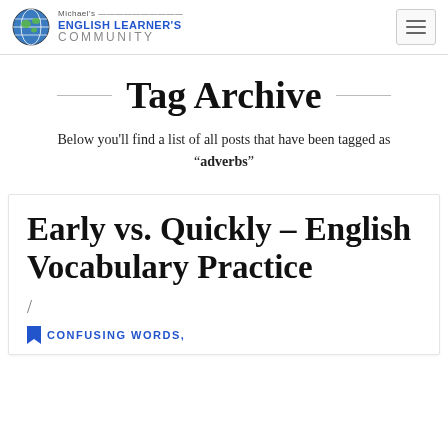Michael's ENGLISH LEARNER'S COMMUNITY
Tag Archive
Below you'll find a list of all posts that have been tagged as “adverbs”
Early vs. Quickly - English Vocabulary Practice
/
CONFUSING WORDS,